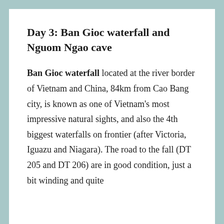Day 3: Ban Gioc waterfall and Nguom Ngao cave
Ban Gioc waterfall located at the river border of Vietnam and China, 84km from Cao Bang city, is known as one of Vietnam's most impressive natural sights, and also the 4th biggest waterfalls on frontier (after Victoria, Iguazu and Niagara). The road to the fall (DT 205 and DT 206) are in good condition, just a bit winding and quite